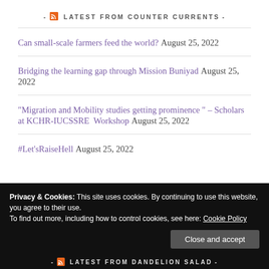- LATEST FROM COUNTER CURRENTS -
Can small-scale farmers feed the world? August 25, 2022
Bridging the learning gap through Mission Buniyad August 25, 2022
"Migration and Mobility studies getting prominence " – Scholars at KCHR-IUCSSRE  Workshop August 25, 2022
#Let'sRaiseHell August 25, 2022
Privacy & Cookies: This site uses cookies. By continuing to use this website, you agree to their use.
To find out more, including how to control cookies, see here: Cookie Policy
- LATEST FROM DANDELION SALAD -